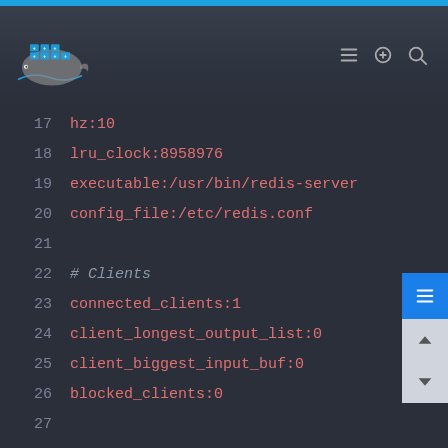Docker logo and navigation header
[Figure (screenshot): Code viewer showing Redis INFO command output lines 14-35, dark theme with line numbers and pink/red monospace text on dark background]
17    hz:10
18    lru_clock:8958976
19    executable:/usr/bin/redis-server
20    config_file:/etc/redis.conf
21
22    # Clients
23    connected_clients:1
24    client_longest_output_list:0
25    client_biggest_input_buf:0
26    blocked_clients:0
27
28    # Memory
29    used_memory:76553824
30    used_memory_human:73.01M
31    used_memory_rss:83648512
32    used_memory_rss_human:79.77M
33    used_memory_peak:76554720
34    used_memory_peak_human:73.01M
35    total_system_memory:1907970048